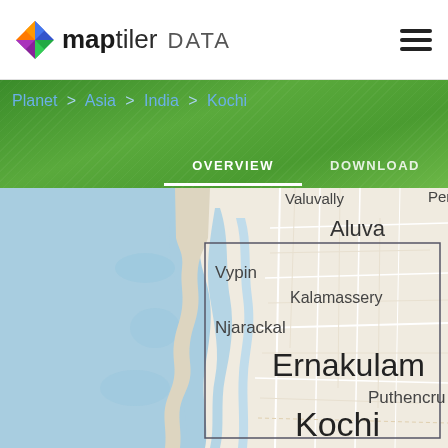MapTiler DATA
Planet > Asia > India > Kochi
OVERVIEW   DOWNLOAD
[Figure (map): Map of Kochi, India region showing Ernakulam, Kochi, Vypin, Kalamassery, Njarackal, Aluva, Puthencru areas with waterways and road network. A rectangular bounding box highlights the Kochi region.]